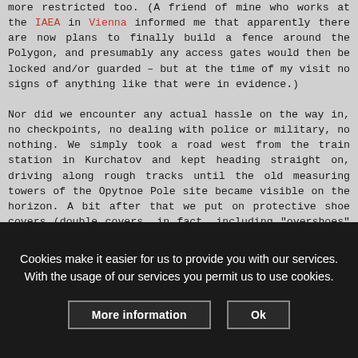more restricted too. (A friend of mine who works at the IAEA in Vienna informed me that apparently there are now plans to finally build a fence around the Polygon, and presumably any access gates would then be locked and/or guarded – but at the time of my visit no signs of anything like that were in evidence.)

Nor did we encounter any actual hassle on the way in, no checkpoints, no dealing with police or military, no nothing. We simply took a road west from the train station in Kurchatov and kept heading straight on, driving along rough tracks until the old measuring towers of the Opytnoe Pole site became visible on the horizon. A bit after that we put on protective shoe covers (double covers, in fact, including "overshoes" that were cut-down wellington boots), as well as face masks, which we kept on until we had driven a safe distance from the site – in Semipalatinsk. Grim...
Cookies make it easier for us to provide you with our services. With the usage of our services you permit us to use cookies.